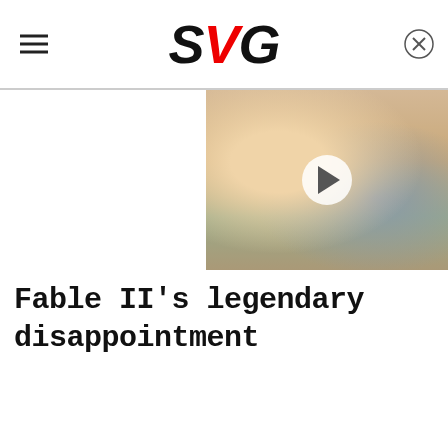SVG
[Figure (photo): Video thumbnail showing a person lying in bed looking ill or tired, with a pillow and blanket, with a play button overlay indicating a video]
Fable II's legendary disappointment